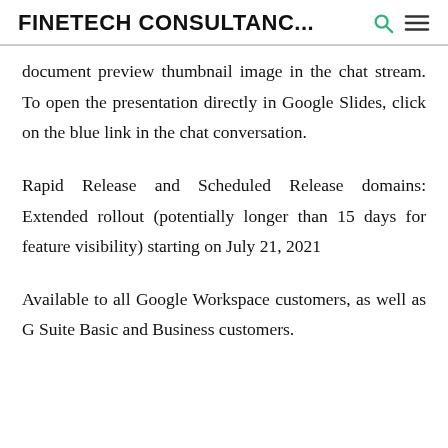FINETECH CONSULTANC...
document preview thumbnail image in the chat stream. To open the presentation directly in Google Slides, click on the blue link in the chat conversation.
Rapid Release and Scheduled Release domains: Extended rollout (potentially longer than 15 days for feature visibility) starting on July 21, 2021
Available to all Google Workspace customers, as well as G Suite Basic and Business customers.